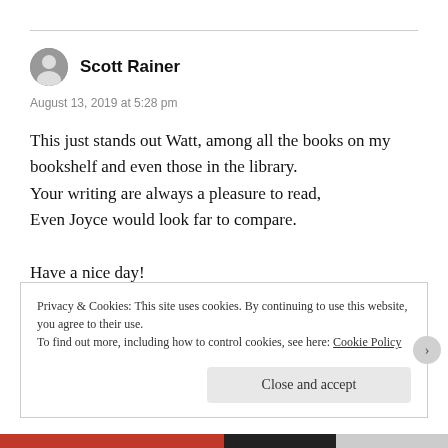Scott Rainer
August 13, 2019 at 5:28 pm
This just stands out Watt, among all the books on my bookshelf and even those in the library.
Your writing are always a pleasure to read,
Even Joyce would look far to compare.

Have a nice day!
★ Like
Privacy & Cookies: This site uses cookies. By continuing to use this website, you agree to their use.
To find out more, including how to control cookies, see here: Cookie Policy
Close and accept